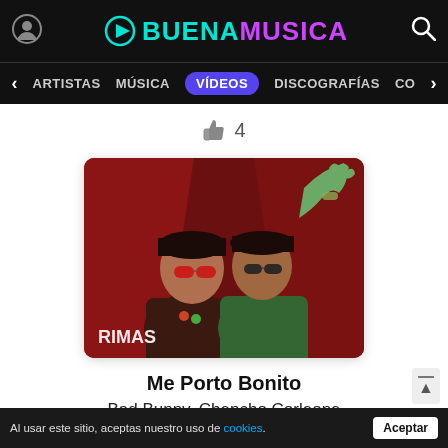BUENAMUSICA
< ARTISTAS  MÚSICA  VÍDEOS  DISCOGRAFÍAS  CO >
👍 4
[Figure (photo): Two men posing in front of a dark red background. One wears red sunglasses and a dark shirt; the other wears green attire and dark sunglasses. The word RIMAS is visible in the lower left corner.]
Me Porto Bonito
Bad Bunny, Chencho Corleone
Al usar este sitio, aceptas nuestro uso de cookies. Aceptar